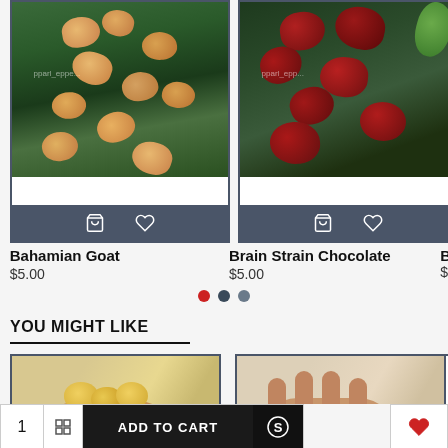[Figure (photo): Product card image of Bahamian Goat peppers on plant - orange/yellow peppers with green foliage]
Bahamian Goat
$5.00
[Figure (photo): Product card image of Brain Strain Chocolate peppers - dark red/maroon wrinkled peppers on plant]
Brain Strain Chocolate
$5.00
YOU MIGHT LIKE
[Figure (photo): Product photo of yellow peppers held in hand]
[Figure (photo): Product photo of peppers held in hand]
ADD TO CART